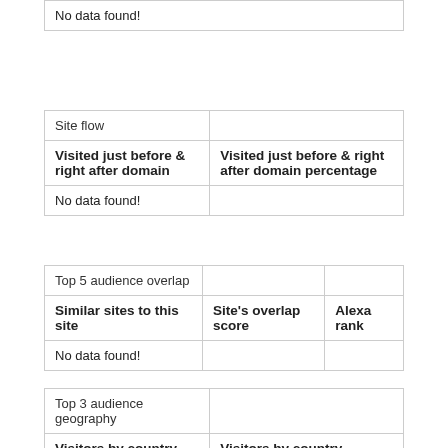| No data found! |
| Site flow |  |
| --- | --- |
| Visited just before & right after domain | Visited just before & right after domain percentage |
| No data found! |  |
| Top 5 audience overlap |  |  |
| --- | --- | --- |
| Similar sites to this site | Site's overlap score | Alexa rank |
| No data found! |  |  |
| Top 3 audience geography |  |
| --- | --- |
| Visitors by country | Visitors by country percentage |